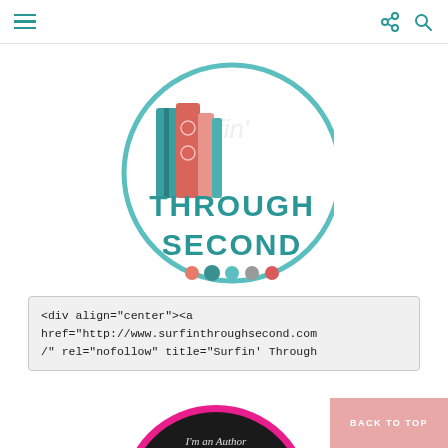Navigation bar with hamburger menu and share/search icons
[Figure (logo): Surfin' Through Second blog logo — circular badge with teal border, colorful books, dots, and 'THROUGH SECOND' text in teal]
<div align="center"><a href="http://www.surfinthroughsecond.com/" rel="nofollow" title="Surfin' Through
[Figure (logo): Elementary Chalkboard badge — circular pink-bordered logo on dark chalkboard background with colorful 'CHALKBOARD' text and 'I'm an Author for the Elementary Chalkboard — A place for tips and tricks K-6']